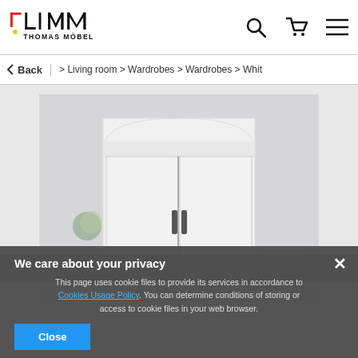[Figure (logo): Thomas Möbel logo with stylized TM letters in black and red/yellow dot]
Thomas Möbel — navigation header with search, cart, and menu icons
Back  > Living room > Wardrobes > Wardrobes > Whit
[Figure (photo): White wooden wardrobe with arched top and two doors with dark handles, photographed against a light grey wall with decorative balls and a basket visible]
We care about your privacy
This page uses cookie files to provide its services in accordance to Cookies Usage Policy. You can determine conditions of storing or access to cookie files in your web browser.
Close
519.00 €